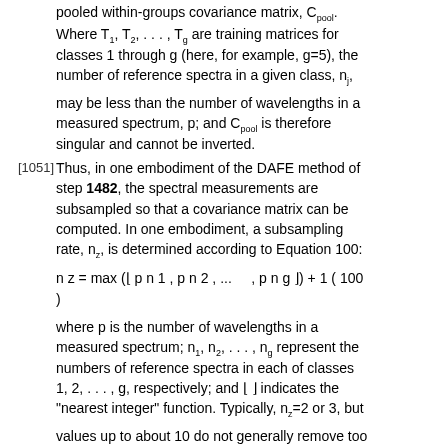The projection matrix required the inversion of the pooled within-groups covariance matrix, C_pool. Where T_1, T_2, ..., T_g are training matrices for classes 1 through g (here, for example, g=5), the number of reference spectra in a given class, n_j, may be less than the number of wavelengths in a measured spectrum, p; and C_pool is therefore singular and cannot be inverted.
[1051] Thus, in one embodiment of the DAFE method of step 1482, the spectral measurements are subsampled so that a covariance matrix can be computed. In one embodiment, a subsampling rate, n_z, is determined according to Equation 100:
where p is the number of wavelengths in a measured spectrum; n_1, n_2, ..., n_g represent the numbers of reference spectra in each of classes 1, 2, ..., g, respectively; and ⌊ ⌋ indicates the "nearest integer" function. Typically, n_z=2 or 3, but values up to about 10 do not generally remove too much information from a measured reflectance